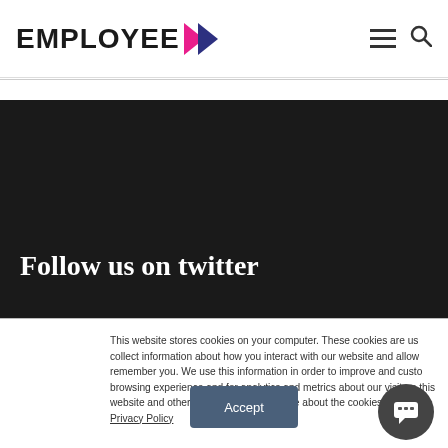EMPLOYEE
Follow us on twitter
This website stores cookies on your computer. These cookies are us collect information about how you interact with our website and allow remember you. We use this information in order to improve and custo browsing experience and for analytics and metrics about our visitors this website and other media. To find out more about the cookies we our Privacy Policy
Accept